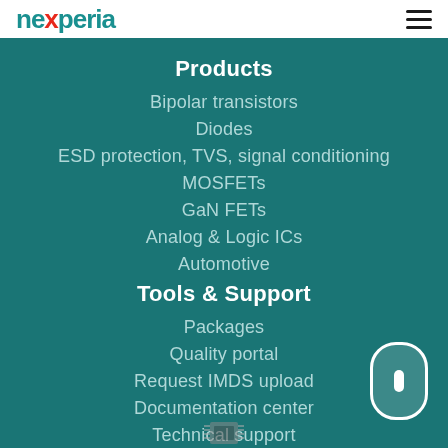nexperia
Products
Bipolar transistors
Diodes
ESD protection, TVS, signal conditioning
MOSFETs
GaN FETs
Analog & Logic ICs
Automotive
Tools & Support
Packages
Quality portal
Request IMDS upload
Documentation center
Technical support